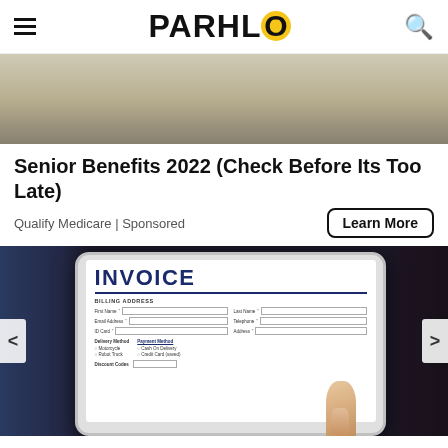PARHLO
[Figure (photo): Partial photo of hands and food on a table, top portion of an article image]
Senior Benefits 2022 (Check Before Its Too Late)
Qualify Medicare | Sponsored
Learn More
[Figure (photo): Photo of a person holding a tablet showing an INVOICE form with billing address fields, delivery method and payment method options, and discount codes section]